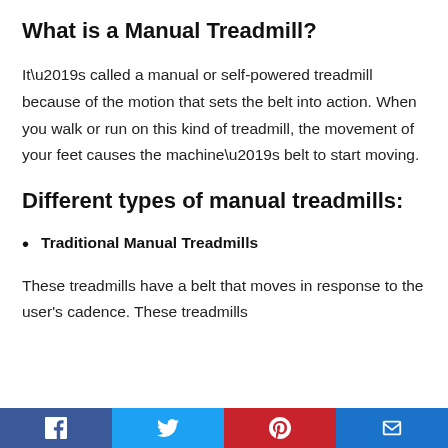What is a Manual Treadmill?
It’s called a manual or self-powered treadmill because of the motion that sets the belt into action. When you walk or run on this kind of treadmill, the movement of your feet causes the machine’s belt to start moving.
Different types of manual treadmills:
Traditional Manual Treadmills
These treadmills have a belt that moves in response to the user’s cadence. These treadmills
Facebook | Twitter | Pinterest | Email